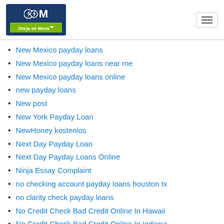Oorja on Move
New Mexico payday loans
New Mexico payday loans near me
New Mexico payday loans online
new payday loans
New post
New York Payday Loan
NewHoney kostenlos
Next Day Payday Loan
Next Day Payday Loans Online
Ninja Essay Complaint
no checking account payday loans houston tx
no clarity check payday loans
No Credit Check Bad Credit Online In Hawaii
No Credit Check Bad Credit Online In Indiana
no credit check payday loans